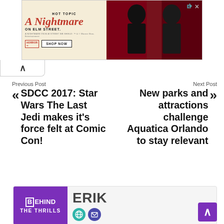[Figure (advertisement): Hot Topic 'A Nightmare on Elm Street' advertisement banner with red horror movie branding, SHOP NOW button, and two people in branded clothing against a dark red background]
Previous Post
SDCC 2017: Star Wars The Last Jedi makes it's force felt at Comic Con!
Next Post
New parks and attractions challenge Aquatica Orlando to stay relevant
[Figure (logo): Behind The Thrills logo on purple background]
ERIK